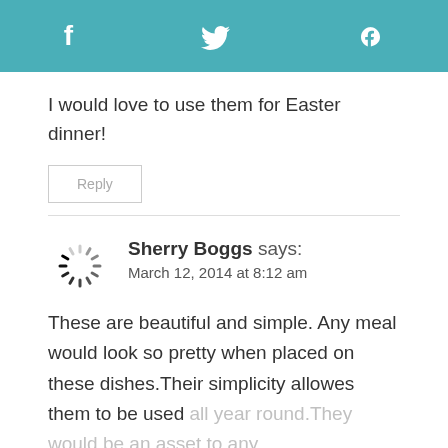f  ✦  p
I would love to use them for Easter dinner!
Reply
Sherry Boggs says:
March 12, 2014 at 8:12 am
These are beautiful and simple. Any meal would look so pretty when placed on these dishes.Their simplicity allowes them to be used all year round.They would be an asset to any